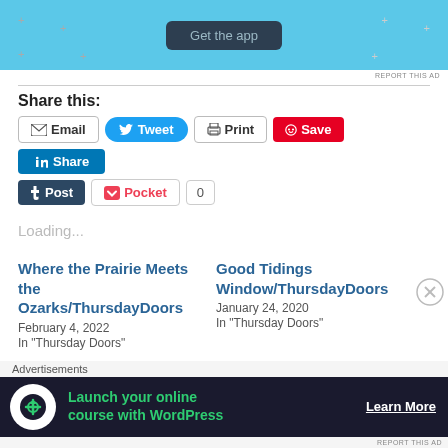[Figure (screenshot): App promotion banner with 'Get the app' button on light blue background]
REPORT THIS AD
Share this:
Email  Tweet  Print  Save  Share  Post  Pocket  0
Loading...
Where the Prairie Meets the Ozarks/ThursdayDoors
February 4, 2022
In "Thursday Doors"
Good Tidings Window/ThursdayDoors
January 24, 2020
In "Thursday Doors"
Advertisements
[Figure (screenshot): Advertisement banner: 'Launch your online course with WordPress' with Learn More button on dark background]
REPORT THIS AD